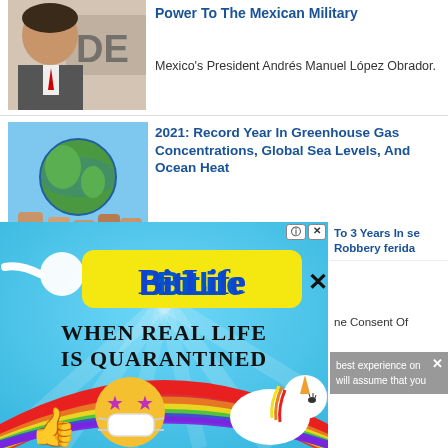Power To The Mexican Military
Mexico's President Andrés Manuel López Obrador.
2021: Record Year In Greenhouse Gas Concentrations, Global Sea Levels, And Ocean Heat
In A Report Released On Wednesday
[Figure (photo): Man in suit, partial view, DE text in background]
[Figure (photo): Hands holding globe against blue sky background]
[Figure (illustration): BitLife advertisement: sperm logo, yellow bubble text 'BitLife', black bold text 'WHEN REAL LIFE IS QUARANTINED', cartoon emoji face with stars and mask, unicorn, rainbow background]
To 3 Years In se Robbery ferida
ne Consent Of
best experience on
will assume that you